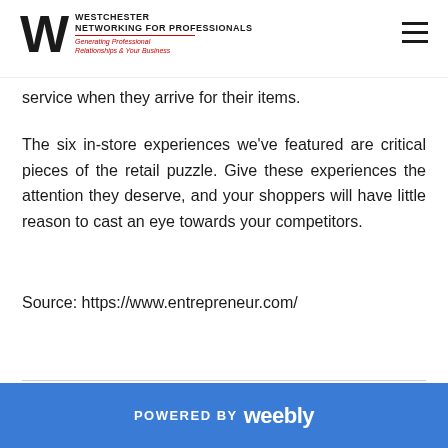Westchester Networking for Professionals — Generating Professional Relationships & Your Business
service when they arrive for their items.
The six in-store experiences we've featured are critical pieces of the retail puzzle. Give these experiences the attention they deserve, and your shoppers will have little reason to cast an eye towards your competitors.
Source: https://www.entrepreneur.com/
POWERED BY weebly